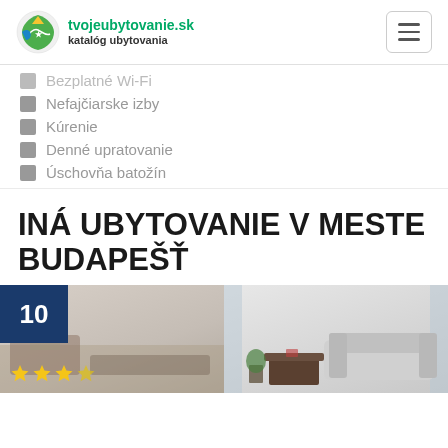tvojeubytovanie.sk katalóg ubytovania
Bezplatné Wi-Fi
Nefajčiarske izby
Kúrenie
Denné upratovanie
Úschovňa batožín
INÁ UBYTOVANIE V MESTE BUDAPEŠŤ
[Figure (photo): Interior photo of a living room with score badge showing 10 and star rating, split into two panels showing different angles of a furnished room with sofa and coffee table]